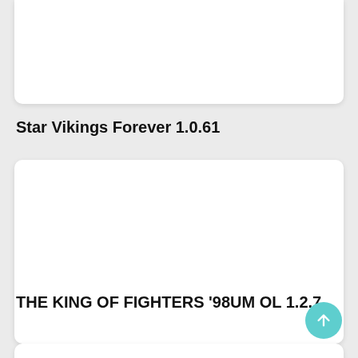[Figure (screenshot): Top white card, partially visible, cropped at top of page]
Star Vikings Forever 1.0.61
[Figure (screenshot): Middle white card, large empty white rectangle]
THE KING OF FIGHTERS '98UM OL 1.2.7
[Figure (screenshot): Bottom white card, partially visible, cropped at bottom of page]